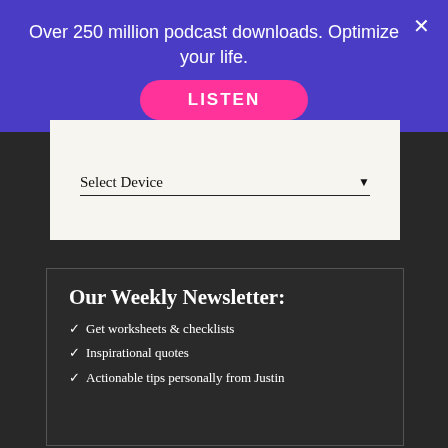Over 250 million podcast downloads. Optimize your life.
LISTEN
Select Device
Our Weekly Newsletter:
✓  Get worksheets & checklists
✓  Inspirational quotes
✓  Actionable tips personally from Justin